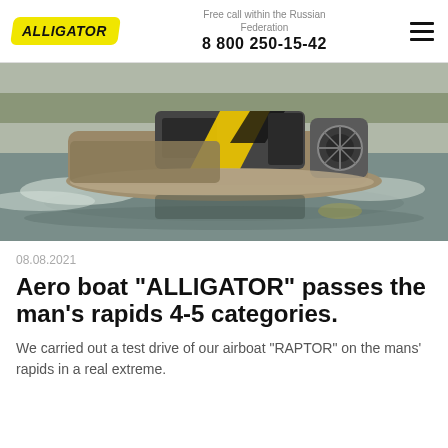ALLIGATOR | Free call within the Russian Federation | 8 800 250-15-42
[Figure (photo): Hovercraft airboat ALLIGATOR RAPTOR speeding across water, with camouflage hull coloring and yellow-black cabin, creating spray wake]
08.08.2021
Aero boat "ALLIGATOR" passes the man's rapids 4-5 categories.
We carried out a test drive of our airboat "RAPTOR" on the mans' rapids in a real extreme.